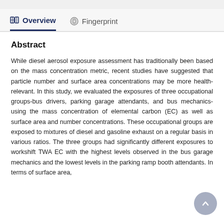Overview
Fingerprint
Abstract
While diesel aerosol exposure assessment has traditionally been based on the mass concentration metric, recent studies have suggested that particle number and surface area concentrations may be more health-relevant. In this study, we evaluated the exposures of three occupational groups-bus drivers, parking garage attendants, and bus mechanics-using the mass concentration of elemental carbon (EC) as well as surface area and number concentrations. These occupational groups are exposed to mixtures of diesel and gasoline exhaust on a regular basis in various ratios. The three groups had significantly different exposures to workshift TWA EC with the highest levels observed in the bus garage mechanics and the lowest levels in the parking ramp booth attendants. In terms of surface area,